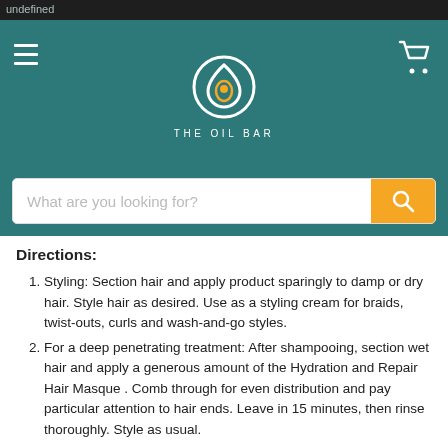undefined
[Figure (logo): The Oil Bar logo — circular swirl with droplet, white on teal background, with text THE OIL BAR below]
What are you looking for?
Directions:
Styling: Section hair and apply product sparingly to damp or dry hair. Style hair as desired. Use as a styling cream for braids, twist-outs, curls and wash-and-go styles.
For a deep penetrating treatment: After shampooing, section wet hair and apply a generous amount of the Hydration and Repair Hair Masque . Comb through for even distribution and pay particular attention to hair ends. Leave in 15 minutes, then rinse thoroughly. Style as usual.
Ingredients: Water, Behentrimonium Chloride, Cetyl Alcohol, Stearyl Alcohol, Cocos Nucifera (Coconut) Oil, Cetrimonium